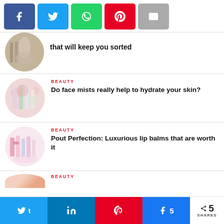[Figure (other): Social share buttons: Facebook, Twitter, WhatsApp, Pinterest, Email]
that will keep you sorted
[Figure (photo): Circular image of a silver gown display]
[Figure (photo): Circular image of face mist bottles with pink flowers]
BEAUTY
Do face mists really help to hydrate your skin?
[Figure (photo): Circular image of lip balm products]
BEAUTY
Pout Perfection: Luxurious lip balms that are worth it
BEAUTY
[Figure (other): Bottom social share bar: Twitter, LinkedIn, Pinterest, Facebook with count 5 SHARES]